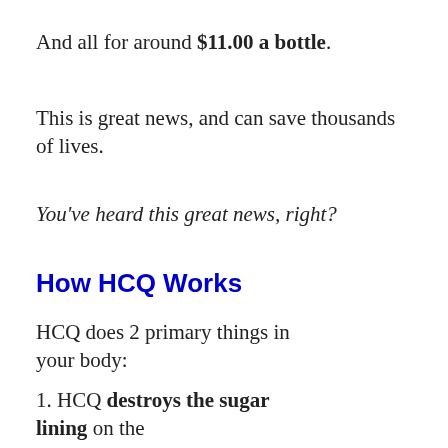And all for around $11.00 a bottle.
This is great news, and can save thousands of lives.
You've heard this great news, right?
How HCQ Works
HCQ does 2 primary things in your body:
HCQ destroys the sugar lining on the